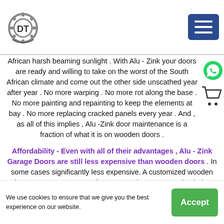DT logo and navigation menu
African harsh beaming sunlight . With Alu - Zink your doors are ready and willing to take on the worst of the South African climate and come out the other side unscathed year after year . No more warping . No more rot along the base . No more painting and repainting to keep the elements at bay . No more replacing cracked panels every year . And , as all of this implies , Alu -Zink door maintenance is a fraction of what it is on wooden doors .
Affordability - Even with all of their advantages , Alu - Zink Garage Doors are still less expensive than wooden doors . In some cases significantly less expensive. A customized wooden door may cost you 2 or 3 times as much as a customized Alu - Zink . And even with the added expense , the wooden door will never match the maintenance savings of the Alu - Zink doors .
We use cookies to ensure that we give you the best experience on our website. Accept